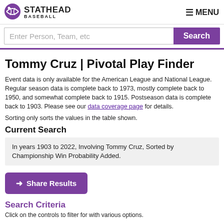STATHEAD BASEBALL | MENU
Enter Person, Team, etc
Tommy Cruz | Pivotal Play Finder
Event data is only available for the American League and National League. Regular season data is complete back to 1973, mostly complete back to 1950, and somewhat complete back to 1915. Postseason data is complete back to 1903. Please see our data coverage page for details.
Sorting only sorts the values in the table shown.
Current Search
In years 1903 to 2022, Involving Tommy Cruz, Sorted by Championship Win Probability Added.
→ Share Results
Search Criteria
Click on the controls to filter for with various options.